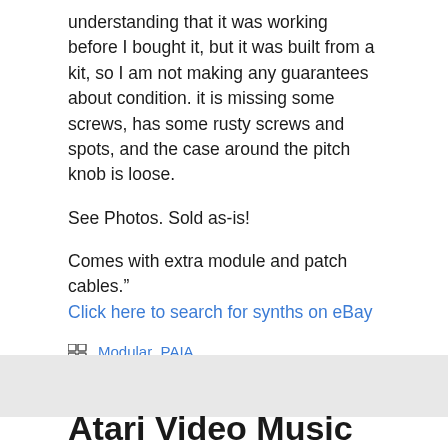understanding that it was working before I bought it, but it was built from a kit, so I am not making any guarantees about condition. it is missing some screws, has some rusty screws and spots, and the case around the pitch knob is loose.
See Photos. Sold as-is!
Comes with extra module and patch cables.” Click here to search for synths on eBay
Modular, PAIA
Atari Video Music